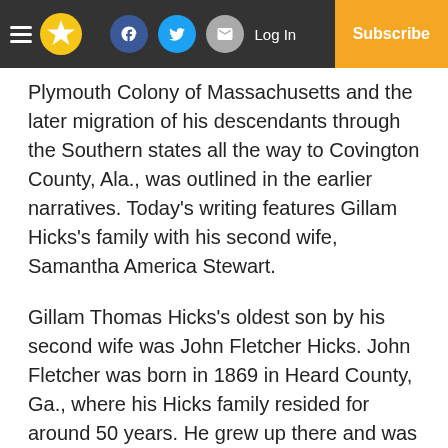Navigation bar with hamburger menu, star logo, Facebook, Twitter, Email buttons, Log In link, and Subscribe button
Plymouth Colony of Massachusetts and the later migration of his descendants through the Southern states all the way to Covington County, Ala., was outlined in the earlier narratives. Today's writing features Gillam Hicks's family with his second wife, Samantha America Stewart.
Gillam Thomas Hicks's oldest son by his second wife was John Fletcher Hicks. John Fletcher was born in 1869 in Heard County, Ga., where his Hicks family resided for around 50 years. He grew up there and was married circa 1890 to his first wife, Maggie E. Langston (1866-1897 or 1899). She died at a fairly